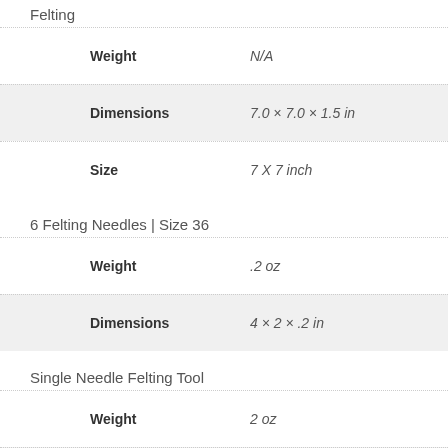Felting
| Property | Value |
| --- | --- |
| Weight | N/A |
| Dimensions | 7.0 × 7.0 × 1.5 in |
| Size | 7 X 7 inch |
6 Felting Needles | Size 36
| Property | Value |
| --- | --- |
| Weight | .2 oz |
| Dimensions | 4 × 2 × .2 in |
Single Needle Felting Tool
| Property | Value |
| --- | --- |
| Weight | 2 oz |
| Dimensions | 3 × .5 × .5 in |
| Color | Blue, Gold, Anodized Red |
Gnome Needle Felting Kit